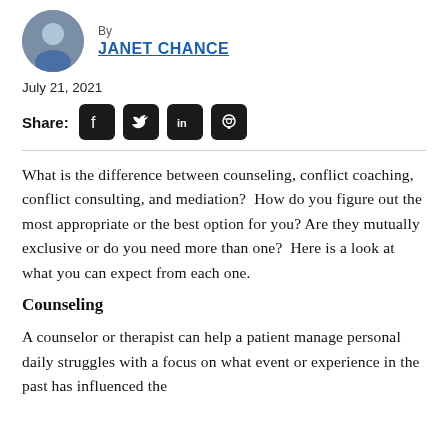By JANET CHANCE
July 21, 2021
Share:
What is the difference between counseling, conflict coaching, conflict consulting, and mediation?  How do you figure out the most appropriate or the best option for you? Are they mutually exclusive or do you need more than one?  Here is a look at what you can expect from each one.
Counseling
A counselor or therapist can help a patient manage personal daily struggles with a focus on what event or experience in the past has influenced the current feelings, thinking, and behaviors. There is...